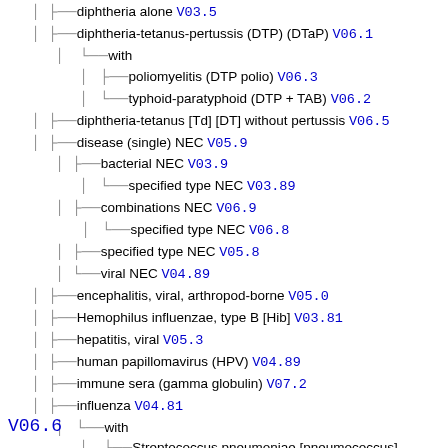diphtheria alone V03.5
diphtheria-tetanus-pertussis (DTP) (DTaP) V06.1
with
poliomyelitis (DTP polio) V06.3
typhoid-paratyphoid (DTP + TAB) V06.2
diphtheria-tetanus [Td] [DT] without pertussis V06.5
disease (single) NEC V05.9
bacterial NEC V03.9
specified type NEC V03.89
combinations NEC V06.9
specified type NEC V06.8
specified type NEC V05.8
viral NEC V04.89
encephalitis, viral, arthropod-borne V05.0
Hemophilus influenzae, type B [Hib] V03.81
hepatitis, viral V05.3
human papillomavirus (HPV) V04.89
immune sera (gamma globulin) V07.2
influenza V04.81
with
Streptococcus pneumoniae [pneumococcus] V06.6
leishmaniasis V05.2